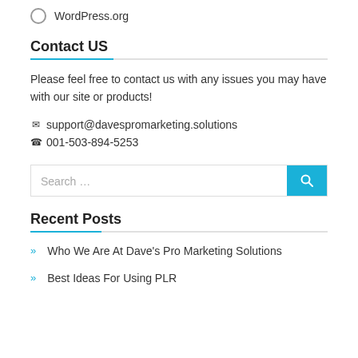WordPress.org
Contact US
Please feel free to contact us with any issues you may have with our site or products!
✉ support@davespromarketing.solutions
☎ 001-503-894-5253
[Figure (other): Search bar with text 'Search ...' and a cyan search button]
Recent Posts
Who We Are At Dave's Pro Marketing Solutions
Best Ideas For Using PLR